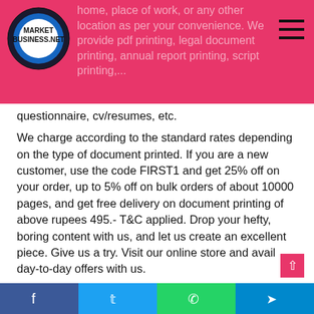home, place of work, or any other location as per your convenience. We provide pdf printing, legal document printing, annual report printing, script printing, questionnaire, cv/resumes, etc.
[Figure (logo): MarketBusiness.net circular logo with black and blue ring]
questionnaire, cv/resumes, etc.
We charge according to the standard rates depending on the type of document printed. If you are a new customer, use the code FIRST1 and get 25% off on your order, up to 5% off on bulk orders of about 10000 pages, and get free delivery on document printing of above rupees 495.- T&C applied. Drop your hefty, boring content with us, and let us create an excellent piece. Give us a try. Visit our online store and avail day-to-day offers with us.
Click Here: hammburg.For More Information: m4mlmsoftware. Find Here: feedsportal